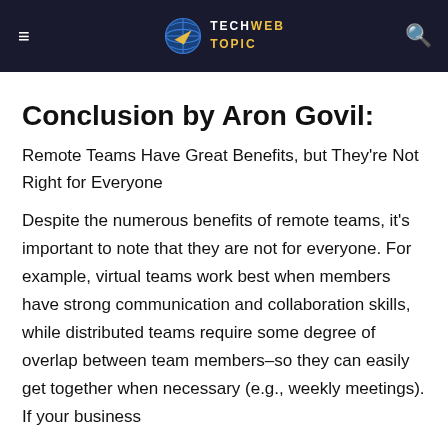TechWebTopic
Conclusion by Aron Govil:
Remote Teams Have Great Benefits, but They're Not Right for Everyone
Despite the numerous benefits of remote teams, it's important to note that they are not for everyone. For example, virtual teams work best when members have strong communication and collaboration skills, while distributed teams require some degree of overlap between team members–so they can easily get together when necessary (e.g., weekly meetings). If your business